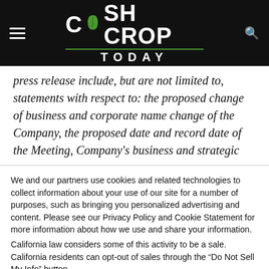Cash Crop Today
press release include, but are not limited to, statements with respect to: the proposed change of business and corporate name change of the Company, the proposed date and record date of the Meeting, Company's business and strategic
We and our partners use cookies and related technologies to collect information about your use of our site for a number of purposes, such as bringing you personalized advertising and content. Please see our Privacy Policy and Cookie Statement for more information about how we use and share your information. California law considers some of this activity to be a sale. California residents can opt-out of sales through the "Do Not Sell My Info" button.
Cookie settings | ACCEPT